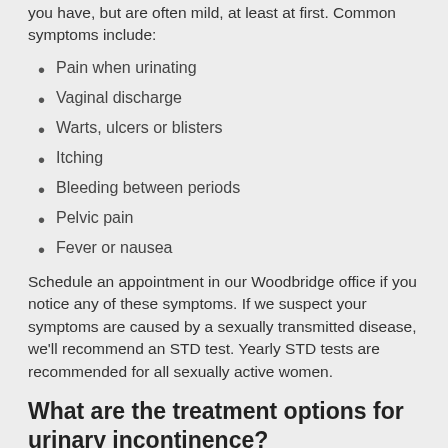you have, but are often mild, at least at first. Common symptoms include:
Pain when urinating
Vaginal discharge
Warts, ulcers or blisters
Itching
Bleeding between periods
Pelvic pain
Fever or nausea
Schedule an appointment in our Woodbridge office if you notice any of these symptoms. If we suspect your symptoms are caused by a sexually transmitted disease, we'll recommend an STD test. Yearly STD tests are recommended for all sexually active women.
What are the treatment options for urinary incontinence?